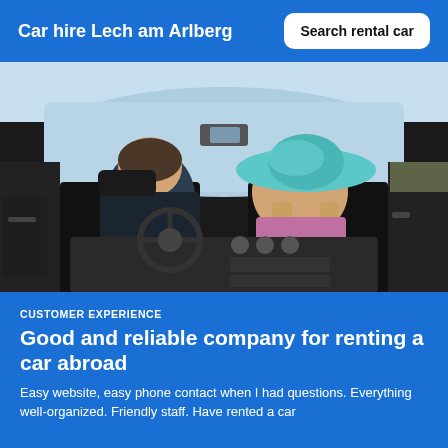Car hire Lech am Arlberg
Search rental car
[Figure (photo): Couple sitting in a convertible car viewed from behind; man driving, woman in teal sun hat with hand on roof; car interior dashboard visible; bright outdoor road scene]
CUSTOMER EXPERIENCE
Good and reliable company for renting a car abroad
Easy website, easy phone contact when I had questions. Everything well-organized. Friendly staff. Have rented a car